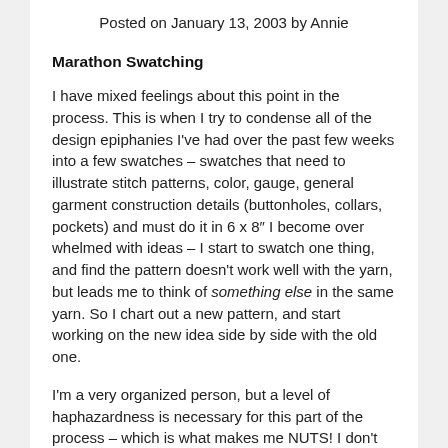Posted on January 13, 2003 by Annie
Marathon Swatching
I have mixed feelings about this point in the process. This is when I try to condense all of the design epiphanies I've had over the past few weeks into a few swatches – swatches that need to illustrate stitch patterns, color, gauge, general garment construction details (buttonholes, collars, pockets) and must do it in 6 x 8″ I become over whelmed with ideas – I start to swatch one thing, and find the pattern doesn't work well with the yarn, but leads me to think of something else in the same yarn. So I chart out a new pattern, and start working on the new idea side by side with the old one.
I'm a very organized person, but a level of haphazardness is necessary for this part of the process – which is what makes me NUTS! I don't have a working studio, per se, so my living room is overflowing with half finished swatches, sketches, plastic containers of carefully labled